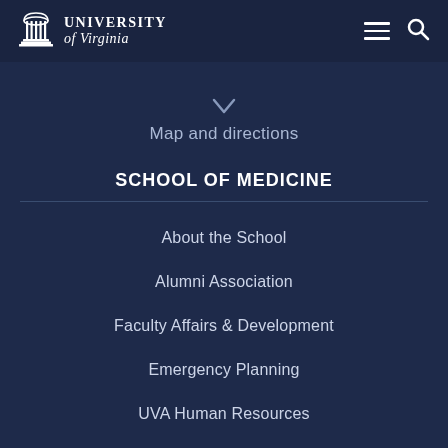University of Virginia — navigation header with menu and search icons
Map and directions
SCHOOL OF MEDICINE
About the School
Alumni Association
Faculty Affairs & Development
Emergency Planning
UVA Human Resources
EMPLOYEES